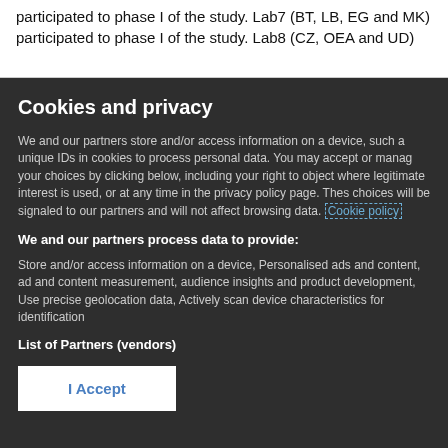participated to phase I of the study. Lab7 (BT, LB, EG and MK) participated to phase I of the study. Lab8 (CZ, OEA and UD)
Cookies and privacy
We and our partners store and/or access information on a device, such as unique IDs in cookies to process personal data. You may accept or manage your choices by clicking below, including your right to object where legitimate interest is used, or at any time in the privacy policy page. These choices will be signaled to our partners and will not affect browsing data. Cookie policy
We and our partners process data to provide:
Store and/or access information on a device, Personalised ads and content, ad and content measurement, audience insights and product development, Use precise geolocation data, Actively scan device characteristics for identification
List of Partners (vendors)
I Accept